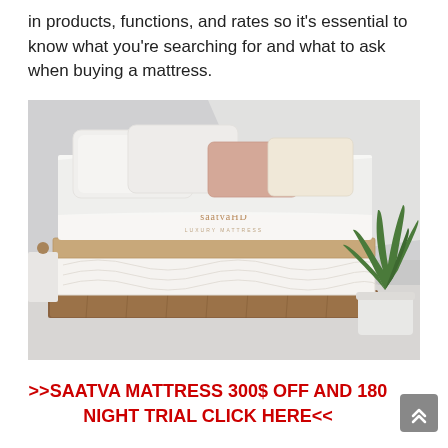in products, functions, and rates so it's essential to know what you're searching for and what to ask when buying a mattress.
[Figure (photo): A Saatva HD luxury mattress on a wooden platform bed frame, with white and pink pillows, white bedding, and a green plant on the right side in a white pot. Soft natural light fills the room.]
>>SAATVA MATTRESS 300$ OFF AND 180 NIGHT TRIAL CLICK HERE<<